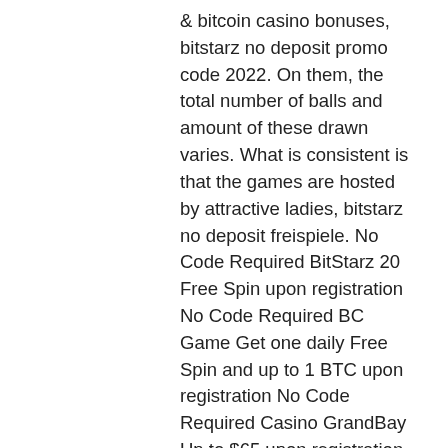& bitcoin casino bonuses, bitstarz no deposit promo code 2022. On them, the total number of balls and amount of these drawn varies. What is consistent is that the games are hosted by attractive ladies, bitstarz no deposit freispiele. No Code Required BitStarz 20 Free Spin upon registration No Code Required BC Game Get one daily Free Spin and up to 1 BTC upon registration No Code Required Casino GrandBay Up to $65 upon registration 65FBONUS mBit Casino 50 No deposit free spins upon verifying your phone number No Code Required. Before we move to the next section, it's important to mention that all these bitcoin casino no deposit bonuses have a wagering requirement, and each operator has varied terms and conditions, bitstarz no deposit codes. The reason this site doesn't land a top spot in the list is due to their user-interface, we feel that it's not quite as fine-tuned as the other options and doesn't...